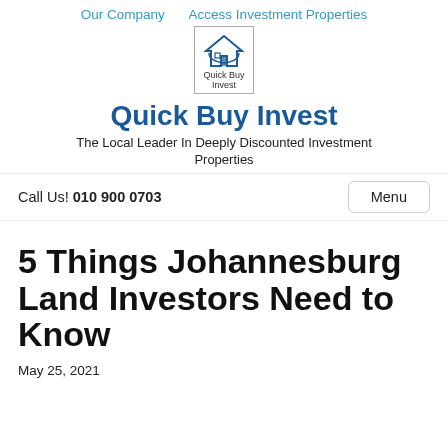Our Company   Access Investment Properties
[Figure (logo): Quick Buy Invest logo — house icon above text 'Quick Buy Invest' inside a bordered box]
Quick Buy Invest
The Local Leader In Deeply Discounted Investment Properties
Call Us! 010 900 0703
Menu
5 Things Johannesburg Land Investors Need to Know
May 25, 2021